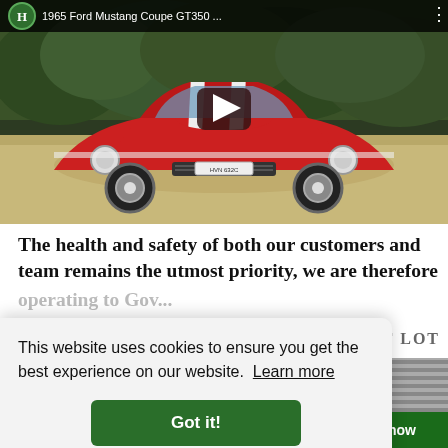[Figure (screenshot): YouTube-style video thumbnail showing a red 1965 Ford Mustang Coupe GT350 with white racing stripes, parked on gravel in front of green hedges. A play button overlay is visible at center. Top bar shows channel icon with 'H', video title '1965 Ford Mustang Coupe GT350 ...', and menu dots.]
The health and safety of both our customers and team remains the utmost priority, we are therefore
[Figure (screenshot): Cookie consent banner overlay: 'This website uses cookies to ensure you get the best experience on our website. Learn more' with a 'Got it!' green button. Partially visible behind banner is 'T LOT' label, a thumbnail image strip, and a dark green 'show' button.]